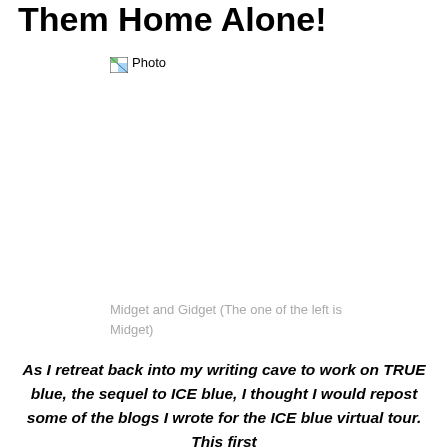Them Home Alone!
[Figure (photo): Broken/missing image placeholder labeled 'Photo' showing two cats named Midget and Gidget]
Midget and Gidget (The one of the left is Midget)
As I retreat back into my writing cave to work on TRUE blue, the sequel to ICE blue, I thought I would repost some of the blogs I wrote for the ICE blue virtual tour.  This first